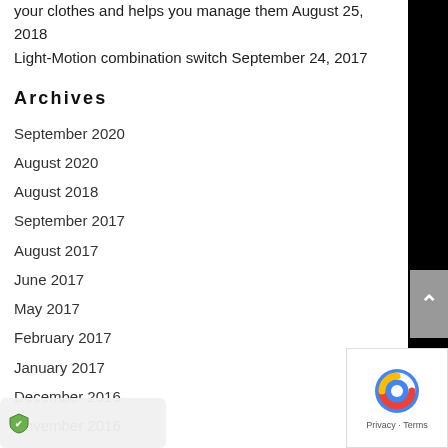your clothes and helps you manage them August 25, 2018
Light-Motion combination switch September 24, 2017
Archives
September 2020
August 2020
August 2018
September 2017
August 2017
June 2017
May 2017
February 2017
January 2017
December 2016
November 2016
October 2016
September 2016
May 2016